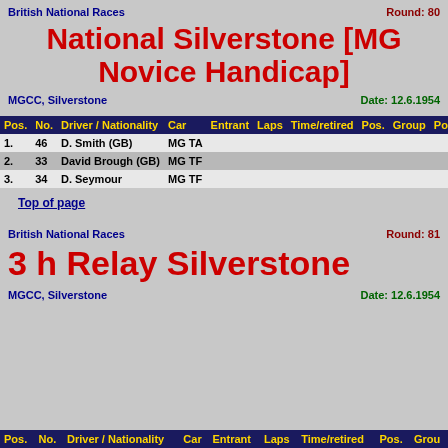British National Races    Round: 80
National Silverstone [MG Novice Handicap]
MGCC, Silverstone    Date: 12.6.1954
| Pos. | No. | Driver / Nationality | Car | Entrant | Laps | Time/retired | Pos. | Group | Pos. | P |
| --- | --- | --- | --- | --- | --- | --- | --- | --- | --- | --- |
| 1. | 46 | D. Smith (GB) | MG TA |  |  |  |  |  |  |  |
| 2. | 33 | David Brough (GB) | MG TF |  |  |  |  |  |  |  |
| 3. | 34 | D. Seymour | MG TF |  |  |  |  |  |  |  |
Top of page
British National Races    Round: 81
3 h Relay Silverstone
MGCC, Silverstone    Date: 12.6.1954
| Pos. | No. | Driver / Nationality | Car | Entrant | Laps | Time/retired | Pos. | Grou |
| --- | --- | --- | --- | --- | --- | --- | --- | --- |